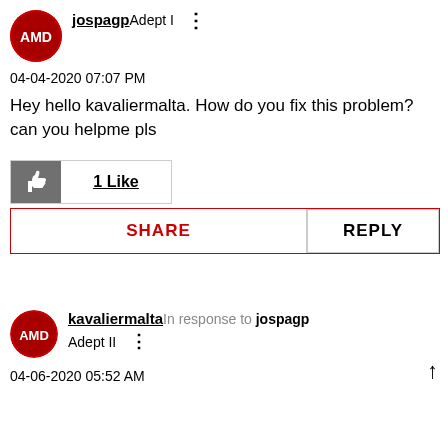[Figure (illustration): AMD circular avatar logo for user jospagp]
jospagpAdept I
04-04-2020 07:07 PM
Hey hello kavaliermalta. How do you fix this problem? can you helpme pls
[Figure (illustration): Thumbs up icon in a grey box with '1 Like' text]
SHARE
REPLY
[Figure (illustration): AMD circular avatar logo for user kavaliermalta]
kavaliermaltaIn response to jospagpAdept II
04-06-2020 05:52 AM